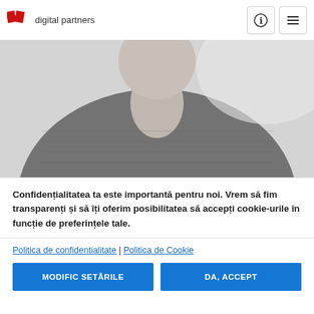digital partners
[Figure (photo): Black and white photo of a man wearing a dark ribbed sweater, cropped to show shoulders and neck area.]
Confidențialitatea ta este importantă pentru noi. Vrem să fim transparenți și să îți oferim posibilitatea să accepți cookie-urile în funcție de preferințele tale.
Politica de confidentialitate | Politica de Cookie
MODIFIC SETĂRILE | DA, ACCEPT